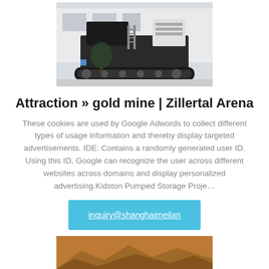[Figure (photo): A large industrial mobile crusher/mining machine on tracks, black and grey, parked in front of a building]
Attraction » gold mine | Zillertal Arena
These cookies are used by Google Adwords to collect different types of usage information and thereby display targeted advertisements. IDE: Contains a randomly generated user ID. Using this ID, Google can recognize the user across different websites across domains and display personalized advertising.Kidston Pumped Storage Proje…
inquiry@shanghaimeilan
[Figure (photo): Partial view of a reddish-brown rocky or desert landscape]